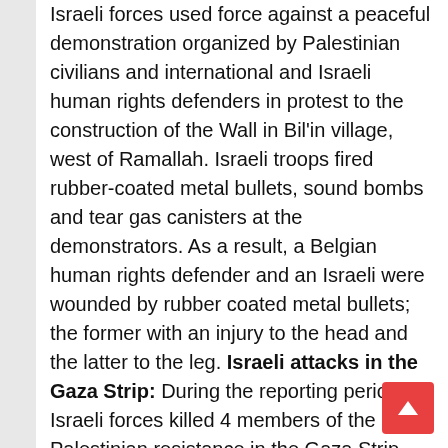Israeli forces used force against a peaceful demonstration organized by Palestinian civilians and international and Israeli human rights defenders in protest to the construction of the Wall in Bil'in village, west of Ramallah. Israeli troops fired rubber-coated metal bullets, sound bombs and tear gas canisters at the demonstrators. As a result, a Belgian human rights defender and an Israeli were wounded by rubber coated metal bullets; the former with an injury to the head and the latter to the leg. Israeli attacks in the Gaza Strip: During the reporting period, Israeli forces killed 4 members of the Palestinian resistance in the Gaza Strip. They also wounded 15 Palestinians, including 4 children, a woman and a mentally disabled person. In the Gaza Strip, on 15 March 2008,